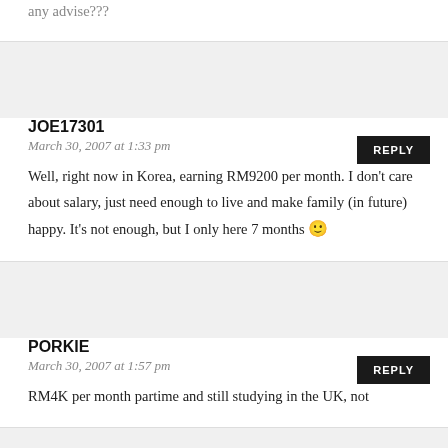any advise???
REPLY
JOE17301
March 30, 2007 at 1:33 pm
Well, right now in Korea, earning RM9200 per month. I don't care about salary, just need enough to live and make family (in future) happy. It's not enough, but I only here 7 months 🙂
REPLY
PORKIE
March 30, 2007 at 1:57 pm
RM4K per month partime and still studying in the UK, not